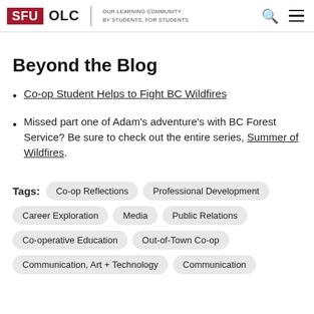SFU OLC | OUR LEARNING COMMUNITY BY STUDENTS, FOR STUDENTS
Beyond the Blog
Co-op Student Helps to Fight BC Wildfires
Missed part one of Adam's adventure's with BC Forest Service? Be sure to check out the entire series, Summer of Wildfires.
Tags: Co-op Reflections  Professional Development  Career Exploration  Media  Public Relations  Co-operative Education  Out-of-Town Co-op  Communication, Art + Technology  Communication